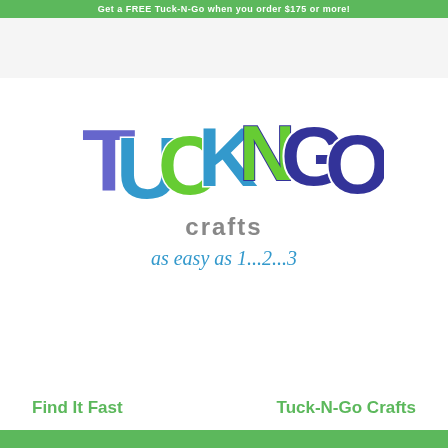Get a FREE Tuck-N-Go when you order $175 or more!
[Figure (logo): Tuck-N-Go Crafts logo with large colorful block letters TUCK-N-GO in blue, green, and purple, with 'crafts' in gray below and 'as easy as 1...2...3' tagline in blue cursive script]
Find It Fast
Tuck-N-Go Crafts